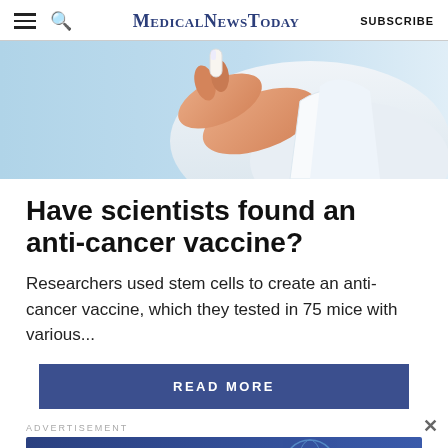MedicalNewsToday  SUBSCRIBE
[Figure (photo): Close-up of a hand in a white lab coat holding a small vial or capsule, blue blurred background]
Have scientists found an anti-cancer vaccine?
Researchers used stem cells to create an anti-cancer vaccine, which they tested in 75 mice with various...
READ MORE
ADVERTISEMENT
[Figure (infographic): MNT newsletter subscription banner: 'Get the MNT newsletter — Subscribe to receive our top news articles' with a SUBSCRIBE button and globe illustration]